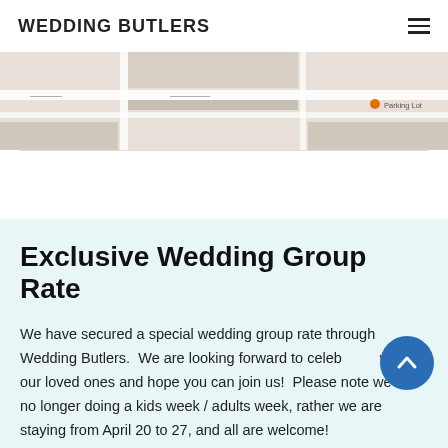WEDDING BUTLERS
[Figure (map): Partial map screenshot showing a parking lot marker and road labels, partially visible at the top of the page.]
Exclusive Wedding Group Rate
We have secured a special wedding group rate through Wedding Butlers.  We are looking forward to celebrating with all our loved ones and hope you can join us!  Please note we are no longer doing a kids week / adults week, rather we are staying from April 20 to 27, and all are welcome!